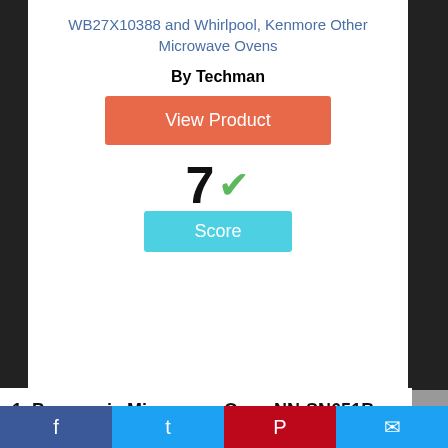WB27X10388 and Whirlpool, Kenmore Other Microwave Ovens
By Techman
View Product
7 ✓ Score
1. Panasonic Microwave Oven NN-SN651B Black Countertop with Inverter Technology and Genius Sensor, 1.2 Cu. Ft, 1200W
Facebook | Twitter | Pinterest | Email